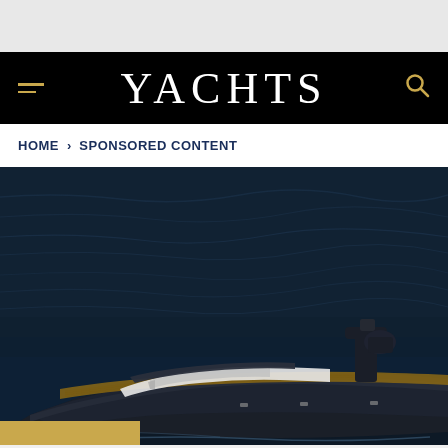YACHTS
HOME > SPONSORED CONTENT
[Figure (photo): Aerial view of a luxury dark-hulled motor yacht with teak deck and helm station, cruising on deep blue ocean water]